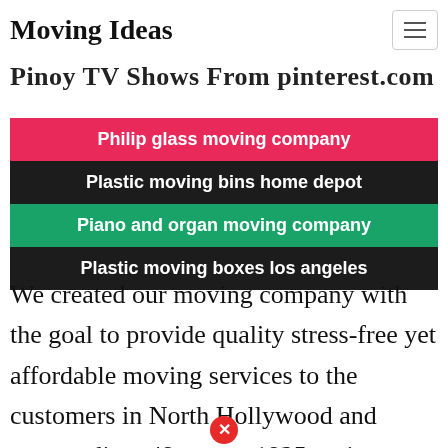Moving Ideas
Pinoy TV Shows From pinterest.com
Philip glass moving company
Plastic moving bins home depot
Piano and organ moving company
Plastic moving boxes los angeles
We created our moving company with the goal to provide quality stress-free yet affordable moving services to the customers in North Hollywood and surrounding. 49 stars – 1925 reviews. Feel